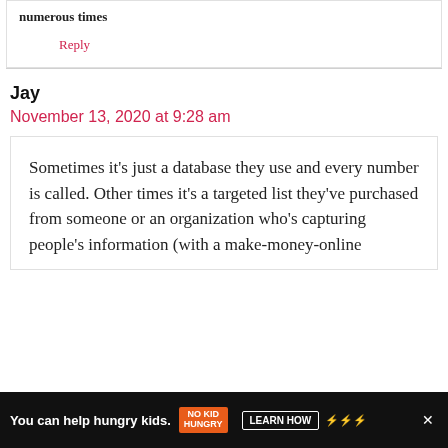numerous times
Reply
Jay
November 13, 2020 at 9:28 am
Sometimes it's just a database they use and every number is called. Other times it's a targeted list they've purchased from someone or an organization who's capturing people's information (with a make-money-online
You can help hungry kids. NO KID HUNGRY LEARN HOW